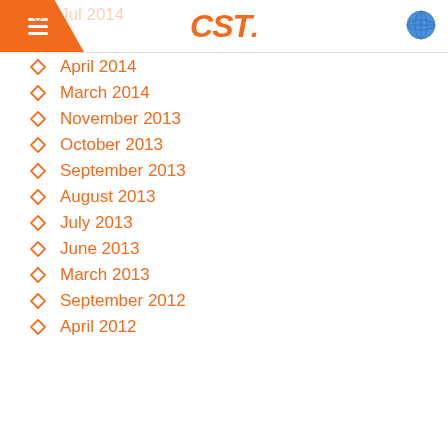CST
May 2014
April 2014
March 2014
November 2013
October 2013
September 2013
August 2013
July 2013
June 2013
March 2013
September 2012
April 2012